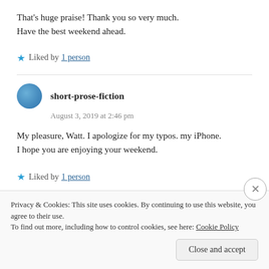That's huge praise! Thank you so very much.
Have the best weekend ahead.
★ Liked by 1 person
short-prose-fiction
August 3, 2019 at 2:46 pm
My pleasure, Watt. I apologize for my typos. my iPhone. I hope you are enjoying your weekend.
★ Liked by 1 person
Privacy & Cookies: This site uses cookies. By continuing to use this website, you agree to their use.
To find out more, including how to control cookies, see here: Cookie Policy
Close and accept